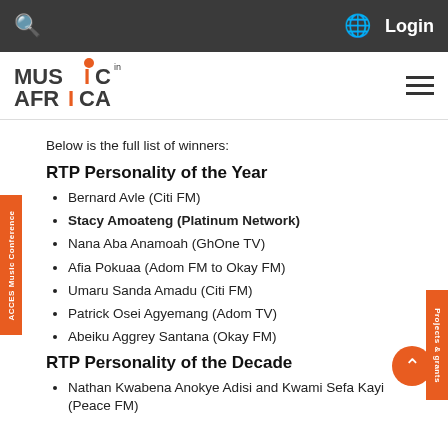Music in Africa website header with search, globe/language selector, Login, logo, and hamburger menu
Below is the full list of winners:
RTP Personality of the Year
Bernard Avle (Citi FM)
Stacy Amoateng (Platinum Network)
Nana Aba Anamoah (GhOne TV)
Afia Pokuaa (Adom FM to Okay FM)
Umaru Sanda Amadu (Citi FM)
Patrick Osei Agyemang (Adom TV)
Abeiku Aggrey Santana (Okay FM)
RTP Personality of the Decade
Nathan Kwabena Anokye Adisi and Kwami Sefa Kayi (Peace FM)